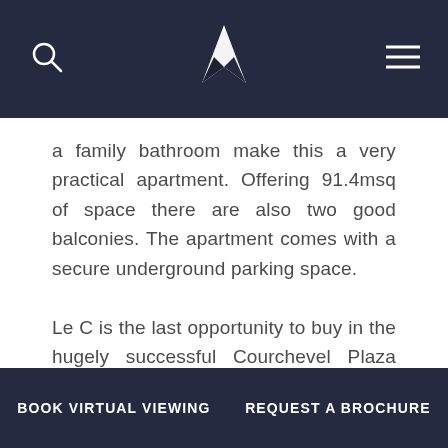[navigation header with search icon, bird logo, and menu icon]
a family bathroom make this a very practical apartment. Offering 91.4msq of space there are also two good balconies. The apartment comes with a secure underground parking space.

Le C is the last opportunity to buy in the hugely successful Courchevel Plaza development with just 9 apartments newly released. Beautifully finished,
BOOK VIRTUAL VIEWING    REQUEST A BROCHURE